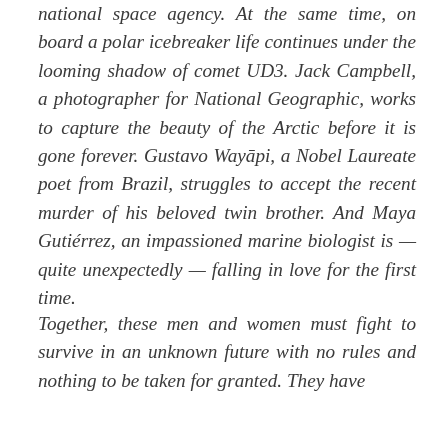national space agency. At the same time, on board a polar icebreaker life continues under the looming shadow of comet UD3. Jack Campbell, a photographer for National Geographic, works to capture the beauty of the Arctic before it is gone forever. Gustavo Wayāpi, a Nobel Laureate poet from Brazil, struggles to accept the recent murder of his beloved twin brother. And Maya Gutiérrez, an impassioned marine biologist is — quite unexpectedly — falling in love for the first time.
Together, these men and women must fight to survive in an unknown future with no rules and nothing to be taken for granted. They have